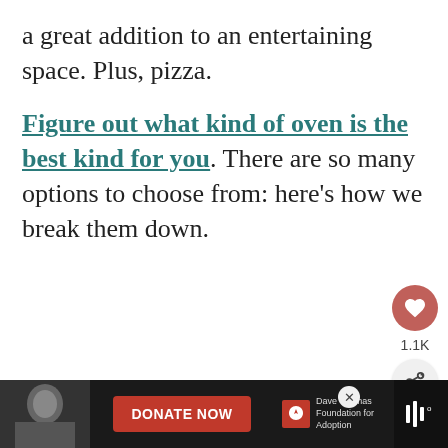a great addition to an entertaining space. Plus, pizza.
Figure out what kind of oven is the best kind for you. There are so many options to choose from: here's how we break them down.
[Figure (infographic): Social sharing UI: heart button with 1.1K count, share button with plus icon]
[Figure (infographic): What's Next card showing a kitchen image thumbnail with label 'WHAT'S NEXT' and title 'Kitchen Remodel Ide...']
[Figure (infographic): Advertisement banner: black background with a woman's photo, red DONATE NOW button, Dave Thomas Foundation for Adoption logo, and a music/streaming icon on the right]